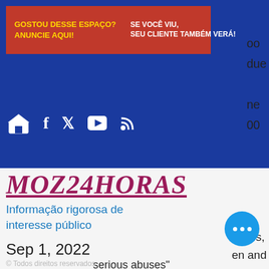[Figure (screenshot): Website header screenshot of MOZ24HORAS news site showing blue navigation bar, banner ad in red/blue with Portuguese text 'GOSTOU DESSE ESPAÇO? ANUNCIE AQUI!' and 'SE VOCÊ VIU, SEU CLIENTE TAMBÉM VERÁ!', social media icons, and hamburger menu button]
MOZ24HORAS
Informação rigorosa de interesse público
Sep 1, 2022
© Todos direitos reservados
serious abuses" by the security forces, including "arbitrary arrests, abductions, torture, excessive force against unarmed civilians, intimidation, and extrajudicial killings"